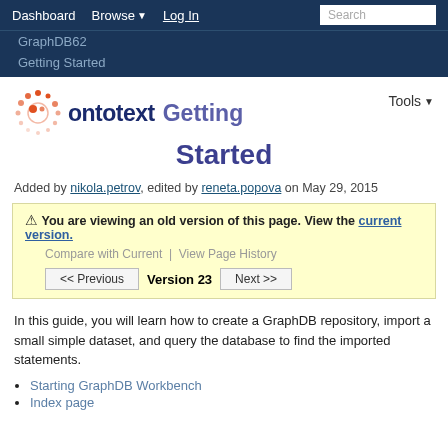Dashboard   Browse ▼   Log In   Search
GraphDB62
Getting Started
ontotext Getting Started
Added by nikola.petrov, edited by reneta.popova on May 29, 2015
⚠ You are viewing an old version of this page. View the current version.
Compare with Current | View Page History
<< Previous   Version 23   Next >>
In this guide, you will learn how to create a GraphDB repository, import a small simple dataset, and query the database to find the imported statements.
Starting GraphDB Workbench
Index page